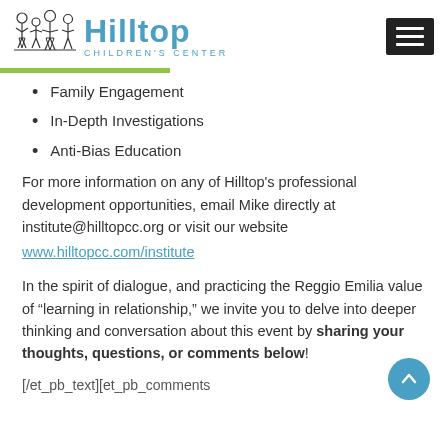[Figure (logo): Hilltop Children's Center logo with illustrated figures and teal text, plus hamburger menu icon]
Family Engagement
In-Depth Investigations
Anti-Bias Education
For more information on any of Hilltop's professional development opportunities, email Mike directly at institute@hilltopcc.org or visit our website www.hilltopcc.com/institute
In the spirit of dialogue, and practicing the Reggio Emilia value of “learning in relationship,” we invite you to delve into deeper thinking and conversation about this event by sharing your thoughts, questions, or comments below!
[/et_pb_text][et_pb_comments